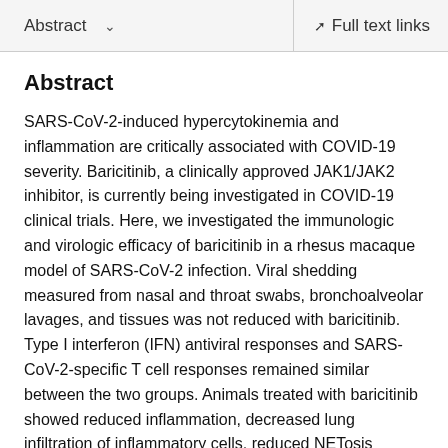Abstract  ∨    Full text links
Abstract
SARS-CoV-2-induced hypercytokinemia and inflammation are critically associated with COVID-19 severity. Baricitinib, a clinically approved JAK1/JAK2 inhibitor, is currently being investigated in COVID-19 clinical trials. Here, we investigated the immunologic and virologic efficacy of baricitinib in a rhesus macaque model of SARS-CoV-2 infection. Viral shedding measured from nasal and throat swabs, bronchoalveolar lavages, and tissues was not reduced with baricitinib. Type I interferon (IFN) antiviral responses and SARS-CoV-2-specific T cell responses remained similar between the two groups. Animals treated with baricitinib showed reduced inflammation, decreased lung infiltration of inflammatory cells, reduced NETosis activity, and more limited lung pathology. Importantly, baricitinib-treated animals had a